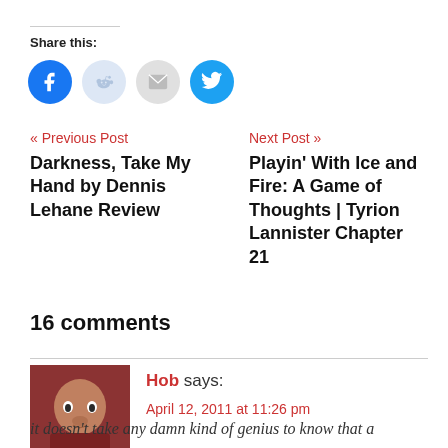Share this:
[Figure (infographic): Four social share icon buttons: Facebook (blue circle), Reddit (light blue circle), Email (grey circle), Twitter (blue circle)]
« Previous Post
Darkness, Take My Hand by Dennis Lehane Review
Next Post »
Playin' With Ice and Fire: A Game of Thoughts | Tyrion Lannister Chapter 21
16 comments
Hob says:
April 12, 2011 at 11:26 pm
it doesn't take any damn kind of genius to know that a